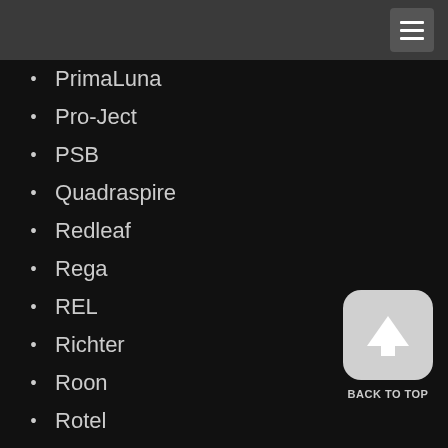PrimaLuna
Pro-Ject
PSB
Quadraspire
Redleaf
Rega
REL
Richter
Roon
Rotel
Ruark
Samsung
Sangean
Sennheiser
Smart Things
Solid Tech
Sonos
[Figure (other): Back to top button with upward arrow icon and BACK TO TOP label]